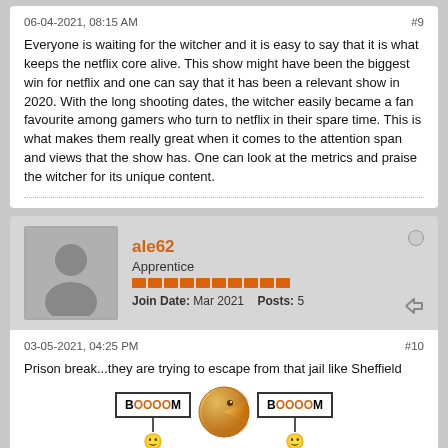06-04-2021, 08:15 AM
#9
Everyone is waiting for the witcher and it is easy to say that it is what keeps the netflix core alive. This show might have been the biggest win for netflix and one can say that it has been a relevant show in 2020. With the long shooting dates, the witcher easily became a fan favourite among gamers who turn to netflix in their spare time. This is what makes them really great when it comes to the attention span and views that the show has. One can look at the metrics and praise the witcher for its unique content.
ale62
Apprentice
Join Date: Mar 2021   Posts: 5
03-05-2021, 04:25 PM
#10
Prison break...they are trying to escape from that jail like Sheffield is trying to leave the Premier...
[Figure (illustration): Two BOOOOM signs on sticks with emoji faces at the bottom, and a gold Pac-Man style emoji ball in the center]